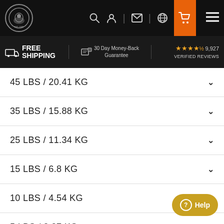Navigation bar with logo, search, account, mail, globe, cart, and menu icons
FREE SHIPPING  |  30 Day Money-Back Guarantee  |  ★★★★½ 9,927 VERIFIED REVIEWS
45 LBS / 20.41 KG
35 LBS / 15.88 KG
25 LBS / 11.34 KG
15 LBS / 6.8 KG
10 LBS / 4.54 KG
5 LBS / 2.27 KG
2.5 LBS / 1.13 KG